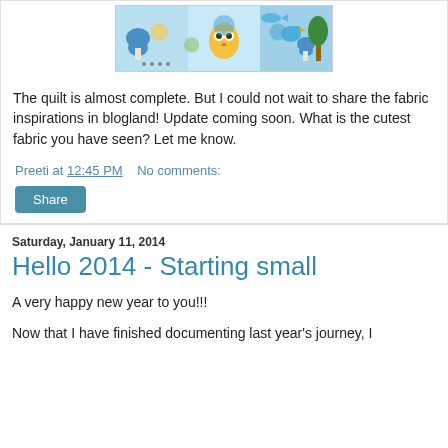[Figure (photo): A colorful children's quilt fabric with owls, mushrooms, birds, and other cartoon characters in blue, yellow, green, and orange tones.]
The quilt is almost complete. But I could not wait to share the fabric inspirations in blogland! Update coming soon. What is the cutest fabric you have seen? Let me know.
Preeti at 12:45 PM    No comments:
Share
Saturday, January 11, 2014
Hello 2014 - Starting small
A very happy new year to you!!!
Now that I have finished documenting last year's journey, I